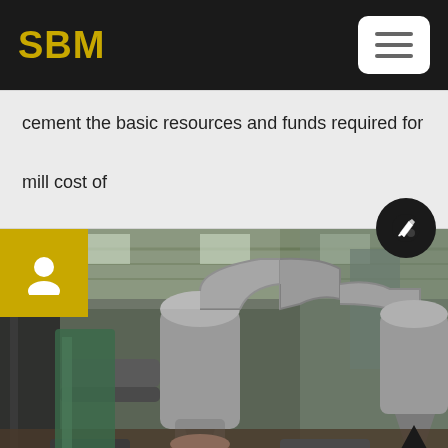SBM
cement the basic resources and funds required for mill cost of
[Figure (photo): Industrial cement mill machinery inside a large warehouse/factory. Shows large grey pipe systems, dust collectors, cyclone separators, and processing equipment inside a metal-roofed industrial building.]